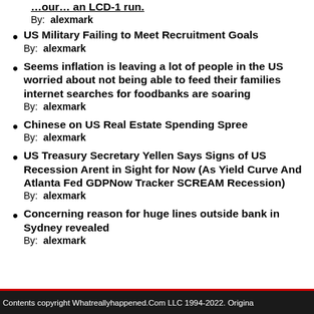US Military Failing to Meet Recruitment Goals
By: alexmark
Seems inflation is leaving a lot of people in the US worried about not being able to feed their families internet searches for foodbanks are soaring
By: alexmark
Chinese on US Real Estate Spending Spree
By: alexmark
US Treasury Secretary Yellen Says Signs of US Recession Arent in Sight for Now (As Yield Curve And Atlanta Fed GDPNow Tracker SCREAM Recession)
By: alexmark
Concerning reason for huge lines outside bank in Sydney revealed
By: alexmark
Contents copyright Whatreallyhappened.Com LLC 1994-2022. Origina